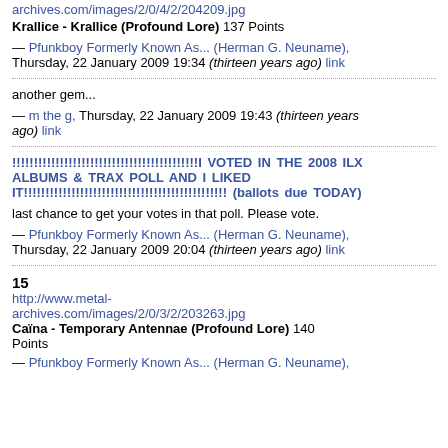archives.com/images/2/0/4/2/204209.jpg
Krallice - Krallice (Profound Lore) 137 Points
— Pfunkboy Formerly Known As... (Herman G. Neuname), Thursday, 22 January 2009 19:34 (thirteen years ago) link
another gem...
— m the g, Thursday, 22 January 2009 19:43 (thirteen years ago) link
!!!!!!!!!!!!!!!!!!!!!!!!!!!!!!!!!!!!!!!!!!!I VOTED IN THE 2008 ILX ALBUMS & TRAX POLL AND I LIKED IT!!!!!!!!!!!!!!!!!!!!!!!!!!!!!!!!!!!!!!!!!!!!!!! (ballots due TODAY)
last chance to get your votes in that poll. Please vote.
— Pfunkboy Formerly Known As... (Herman G. Neuname), Thursday, 22 January 2009 20:04 (thirteen years ago) link
15
http://www.metal-archives.com/images/2/0/3/2/203263.jpg
Caïna - Temporary Antennae (Profound Lore) 140 Points
— Pfunkboy Formerly Known As... (Herman G. Neuname)